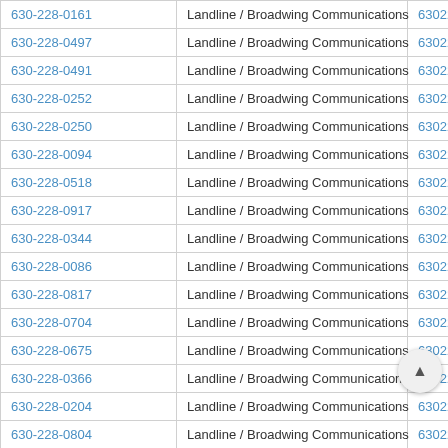| Phone Number | Type / Carrier | Numeric |
| --- | --- | --- |
| 630-228-0161 | Landline / Broadwing Communications | 6302280161 |
| 630-228-0497 | Landline / Broadwing Communications | 6302280497 |
| 630-228-0491 | Landline / Broadwing Communications | 6302280491 |
| 630-228-0252 | Landline / Broadwing Communications | 6302280252 |
| 630-228-0250 | Landline / Broadwing Communications | 6302280250 |
| 630-228-0094 | Landline / Broadwing Communications | 6302280094 |
| 630-228-0518 | Landline / Broadwing Communications | 6302280518 |
| 630-228-0917 | Landline / Broadwing Communications | 6302280917 |
| 630-228-0344 | Landline / Broadwing Communications | 6302280344 |
| 630-228-0086 | Landline / Broadwing Communications | 6302280086 |
| 630-228-0817 | Landline / Broadwing Communications | 6302280817 |
| 630-228-0704 | Landline / Broadwing Communications | 6302280704 |
| 630-228-0675 | Landline / Broadwing Communications | 6302280675 |
| 630-228-0366 | Landline / Broadwing Communications | 6302280366 |
| 630-228-0204 | Landline / Broadwing Communications | 6302280204 |
| 630-228-0804 | Landline / Broadwing Communications | 6302280804 |
| 630-228-0505 | Landline / Broadwing Communications | 6302280505 |
| 630-228-0259 | Landline / Broadwing Communications | 6302280259 |
| 630-228-0029 | Landline / Broadwing Communications | 6302280029 |